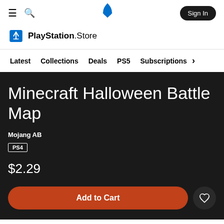PlayStation Store navigation bar with hamburger menu, search, PlayStation logo, and Sign In button
[Figure (logo): PlayStation Store logo with shopping bag icon and 'PlayStation.Store' text]
Latest  Collections  Deals  PS5  Subscriptions >
Minecraft Halloween Battle Map
Mojang AB
PS4
$2.29
Add to Cart